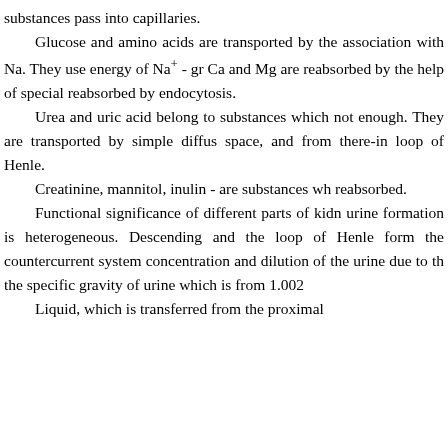substances pass into capillaries. Glucose and amino acids are transported by the association with Na. They use energy of Na+ - gr Ca and Mg are reabsorbed by the help of special reabsorbed by endocytosis. Urea and uric acid belong to substances which not enough. They are transported by simple diffus space, and from there-in loop of Henle. Creatinine, mannitol, inulin - are substances wh reabsorbed. Functional significance of different parts of kidn urine formation is heterogeneous. Descending and the loop of Henle form the countercurrent system concentration and dilution of the urine due to th the specific gravity of urine which is from 1.002 Liquid, which is transferred from the proximal